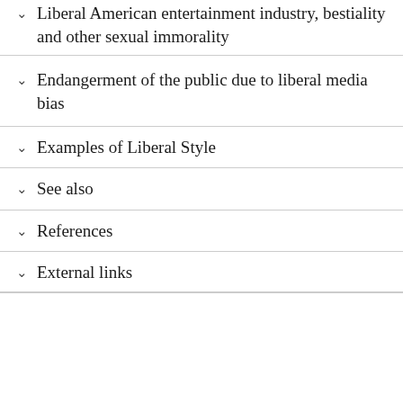Liberal American entertainment industry, bestiality and other sexual immorality
Endangerment of the public due to liberal media bias
Examples of Liberal Style
See also
References
External links